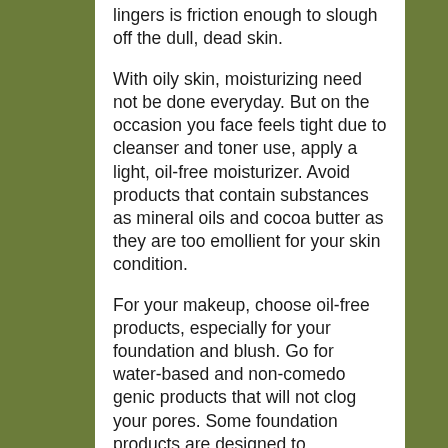lingers is friction enough to slough off the dull, dead skin.
With oily skin, moisturizing need not be done everyday. But on the occasion you face feels tight due to cleanser and toner use, apply a light, oil-free moisturizer. Avoid products that contain substances as mineral oils and cocoa butter as they are too emollient for your skin condition.
For your makeup, choose oil-free products, especially for your foundation and blush. Go for water-based and non-comedo genic products that will not clog your pores. Some foundation products are designed to absorbing oil, which can control the shiny look during the day.
As it is with any skin type, do not forget to use the sun screen (NON oil...